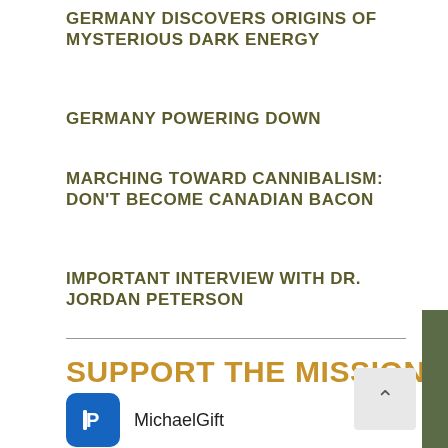GERMANY DISCOVERS ORIGINS OF MYSTERIOUS DARK ENERGY
GERMANY POWERING DOWN
MARCHING TOWARD CANNIBALISM: DON'T BECOME CANADIAN BACON
IMPORTANT INTERVIEW WITH DR. JORDAN PETERSON
SUPPORT THE MISSION
MichaelGift
@Yon-Michael